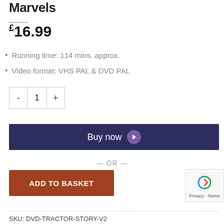Marvels
£16.99
Running time: 114 mins. approx.
Video format: VHS PAL & DVD PAL
- 1 +
Buy now
— OR —
ADD TO BASKET
Privacy · Terms
SKU: DVD-TRACTOR-STORY-V2